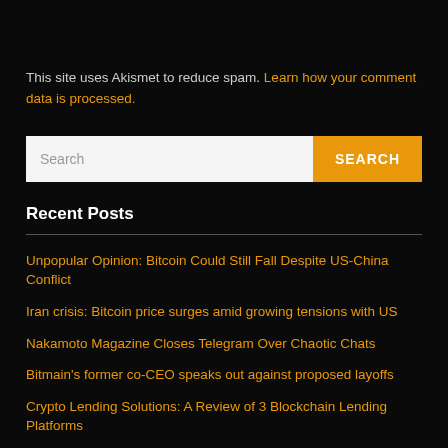This site uses Akismet to reduce spam. Learn how your comment data is processed.
Search [search box with SEARCH button]
Recent Posts
Unpopular Opinion: Bitcoin Could Still Fall Despite US-China Conflict
Iran crisis: Bitcoin price surges amid growing tensions with US
Nakamoto Magazine Closes Telegram Over Chaotic Chats
Bitmain's former co-CEO speaks out against proposed layoffs
Crypto Lending Solutions: A Review of 3 Blockchain Lending Platforms